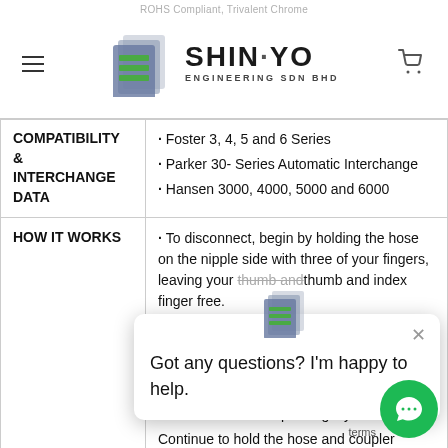ROHS Compliant, Trivalent Chrome - SHIN·YO ENGINEERING SDN BHD
| Category | Details |
| --- | --- |
| COMPATIBILITY & INTERCHANGE DATA | · Foster 3, 4, 5 and 6 Series
· Parker 30- Series Automatic Interchange
· Hansen 3000, 4000, 5000 and 6000 |
| HOW IT WORKS | · To disconnect, begin by holding the hose on the nipple side with three of your fingers, leaving your thumb and index finger free.
· Grip the coupler sleeve and pull it towards the palm of your hand.
· After pulling the sleeve, the nipple will move out of the coupler slightly.
Continue to hold the hose and coupler sleeve until all air is fully |
Got any questions? I'm happy to help.